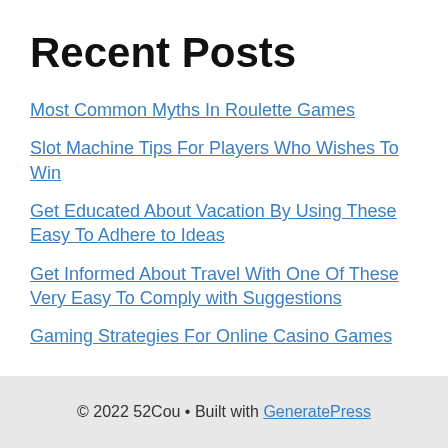Recent Posts
Most Common Myths In Roulette Games
Slot Machine Tips For Players Who Wishes To Win
Get Educated About Vacation By Using These Easy To Adhere to Ideas
Get Informed About Travel With One Of These Very Easy To Comply with Suggestions
Gaming Strategies For Online Casino Games
© 2022 52Cou • Built with GeneratePress